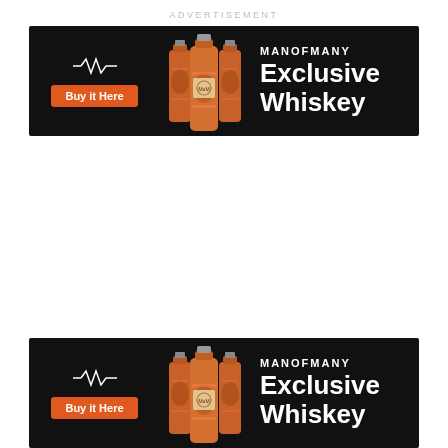ADVERTISEMENT
[Figure (infographic): ManOfMany Exclusive Whiskey advertisement banner with black background, orange 'Buy it Here' button, whiskey bottle image, MANOFMANY logo, and text 'Exclusive Whiskey']
[Figure (infographic): ManOfMany Exclusive Whiskey advertisement banner (repeated) with black background, orange 'Buy it Here' button, whiskey bottle image, MANOFMANY logo, and text 'Exclusive Whiskey']